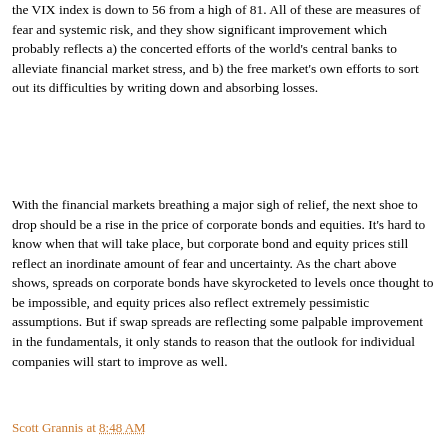the VIX index is down to 56 from a high of 81. All of these are measures of fear and systemic risk, and they show significant improvement which probably reflects a) the concerted efforts of the world's central banks to alleviate financial market stress, and b) the free market's own efforts to sort out its difficulties by writing down and absorbing losses.
With the financial markets breathing a major sigh of relief, the next shoe to drop should be a rise in the price of corporate bonds and equities. It's hard to know when that will take place, but corporate bond and equity prices still reflect an inordinate amount of fear and uncertainty. As the chart above shows, spreads on corporate bonds have skyrocketed to levels once thought to be impossible, and equity prices also reflect extremely pessimistic assumptions. But if swap spreads are reflecting some palpable improvement in the fundamentals, it only stands to reason that the outlook for individual companies will start to improve as well.
Scott Grannis at 8:48 AM